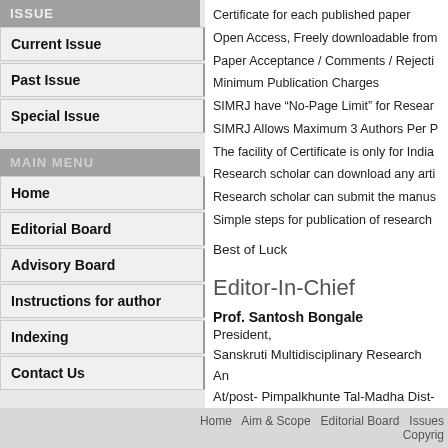ISSUE
Current Issue
Past Issue
Special Issue
MAIN MENU
Home
Editorial Board
Advisory Board
Instructions for author
Indexing
Contact Us
Certificate for each published paper
Open Access, Freely downloadable from
Paper Acceptance / Comments / Rejecti
Minimum Publication Charges
SIMRJ have “No-Page Limit” for Resear
SIMRJ Allows Maximum 3 Authors Per P
The facility of Certificate is only for India
Research scholar can download any arti
Research scholar can submit the manus
Simple steps for publication of research
Best of Luck
Editor-In-Chief
Prof. Santosh Bongale
President,
Sanskruti Multidisciplinary Research An
At/post- Pimpalkhunte Tal-Madha Dist- S
Home   Aim & Scope   Editorial Board   Issues
Copyrig